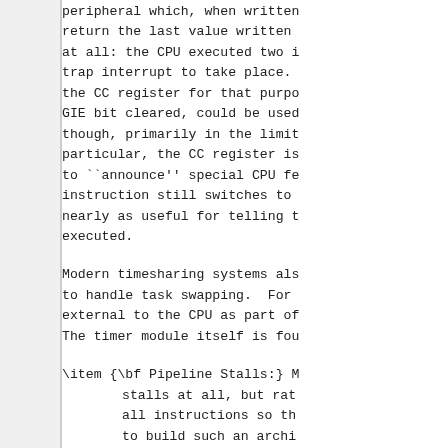peripheral which, when written
return the last value written
at all: the CPU executed two i
trap interrupt to take place.
the CC register for that purpo
GIE bit cleared, could be used
though, primarily in the limit
particular, the CC register is
to ``announce'' special CPU fe
instruction still switches to
nearly as useful for telling t
executed.
Modern timesharing systems als
to handle task swapping.  For
external to the CPU as part of
The timer module itself is fou
\item {\bf Pipeline Stalls:} M
        stalls at all, but rat
        all instructions so th
        to build such an archi

        For example, in  order
        stepping, the CPU need
        which have not.  In ot
        the pipeline from.  O